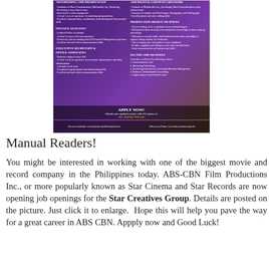[Figure (infographic): A job posting flyer for ABS-CBN Star Creatives Group on a purple/green background, listing positions: Advertising and Promo Staff, Finance Analysts, Executive Secretary & Office Assistants, And Digital Content Creators, Production Design Trainees, On-the-Job Trainees. Bottom has 'APPLY NOW! Submit your updated resume with 2x2 picture to star_hr@abs-cbn.com' and social media links.]
Manual Readers!
You might be interested in working with one of the biggest movie and record company in the Philippines today. ABS-CBN Film Productions Inc., or more popularly known as Star Cinema and Star Records are now opening job openings for the Star Creatives Group. Details are posted on the picture. Just click it to enlarge.  Hope this will help you pave the way for a great career in ABS CBN. Appply now and Good Luck!